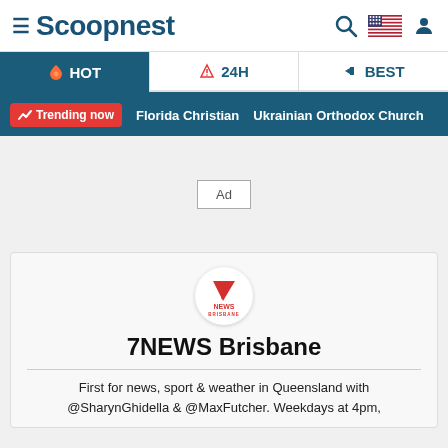Scoopnest
HOT | 24H | BEST
Trending now   Florida Christian   Ukrainian Orthodox Church
[Figure (other): Ad placeholder box with text 'Ad']
[Figure (logo): 7NEWS Brisbane logo - red number 7 with NEWS BRISBANE text]
7NEWS Brisbane
First for news, sport & weather in Queensland with @SharynGhidella & @MaxFutcher. Weekdays at 4pm,